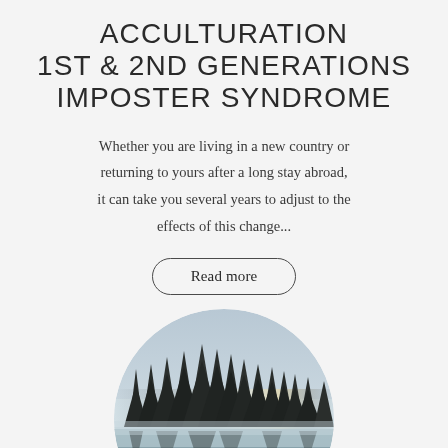ACCULTURATION
1ST & 2ND GENERATIONS
IMPOSTER SYNDROME
Whether you are living in a new country or returning to yours after a long stay abroad, it can take you several years to adjust to the effects of this change...
Read more
[Figure (photo): Circular cropped photo of evergreen pine trees reflected in a misty lake with soft morning light]